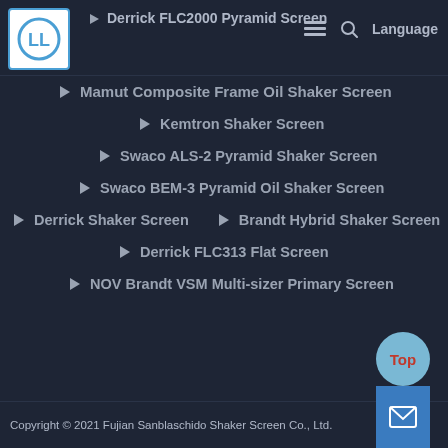[Figure (logo): Circular logo with 'LL' letters in blue, inside a square border]
▶ Derrick FLC2000 Pyramid Screen
▶ Mamut Composite Frame Oil Shaker Screen
▶ Kemtron Shaker Screen
▶ Swaco ALS-2 Pyramid Shaker Screen
▶ Swaco BEM-3 Pyramid Oil Shaker Screen
▶ Derrick Shaker Screen
▶ Brandt Hybrid Shaker Screen
▶ Derrick FLC313 Flat Screen
▶ NOV Brandt VSM Multi-sizer Primary Screen
Copyright © 2021 Fujian Sanblaschido Shaker Screen Co., Ltd.